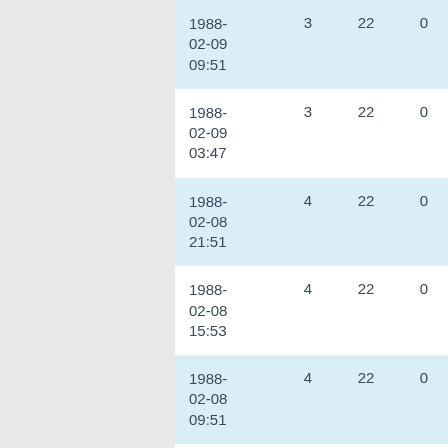| 1988-02-09 09:51 | 3 | 22 | 0 | 0 |
| 1988-02-09 03:47 | 3 | 22 | 0 | 0 |
| 1988-02-08 21:51 | 4 | 22 | 0 | 0 |
| 1988-02-08 15:53 | 4 | 22 | 0 | 0 |
| 1988-02-08 09:51 | 4 | 22 | 0 | 0 |
| 1988-02-08 03:50 | 4 | 22 | 0 | 0 |